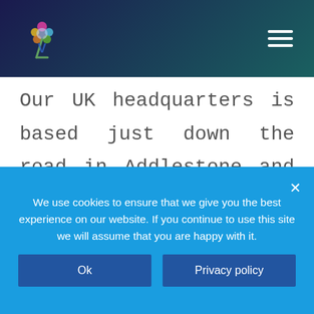[Navigation bar with logo and hamburger menu]
Our UK headquarters is based just down the road in Addlestone and we serve all the town in Surrey and the home counties. Our superb team is made up of SEO consultants, SEO engineers and social media strategists that provide all of our clients with a fully bespoke SEO and broader digital marketing plan designed to help in driving revenue, sales and
We use cookies to ensure that we give you the best experience on our website. If you continue to use this site we will assume that you are happy with it.
Ok
Privacy policy